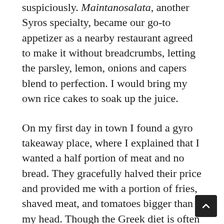suspiciously. Maintanosalata, another Syros specialty, became our go-to appetizer as a nearby restaurant agreed to make it without breadcrumbs, letting the parsley, lemon, onions and capers blend to perfection. I would bring my own rice cakes to soak up the juice.
On my first day in town I found a gyro takeaway place, where I explained that I wanted a half portion of meat and no bread. They gracefully halved their price and provided me with a portion of fries, shaved meat, and tomatoes bigger than my head. Though the Greek diet is often lauded as a healthy one, much of what we ate came with fries, with meat taking precedence over seafood on most menus. In addition, the local bakeries